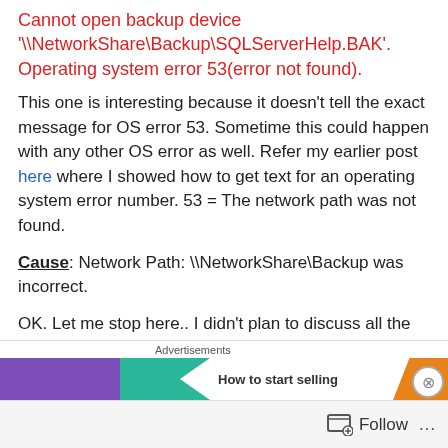Cannot open backup device '\\NetworkShare\Backup\SQLServerHelp.BAK'. Operating system error 53(error not found).
This one is interesting because it doesn't tell the exact message for OS error 53. Sometime this could happen with any other OS error as well. Refer my earlier post here where I showed how to get text for an operating system error number. 53 = The network path was not found.
Cause: Network Path: \\NetworkShare\Backup was incorrect.
OK. Let me stop here.. I didn't plan to discuss all the possible errors but this blog is to present one interesting
[Figure (other): Advertisement banner with purple, teal, orange sections and 'How to start selling' text, with close button]
Follow ...